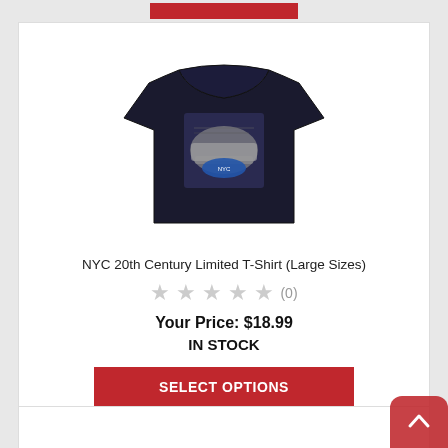[Figure (photo): Black t-shirt with NYC 20th Century Limited locomotive graphic printed on the front chest area]
NYC 20th Century Limited T-Shirt (Large Sizes)
★★★★★ (0)
Your Price: $18.99
IN STOCK
SELECT OPTIONS